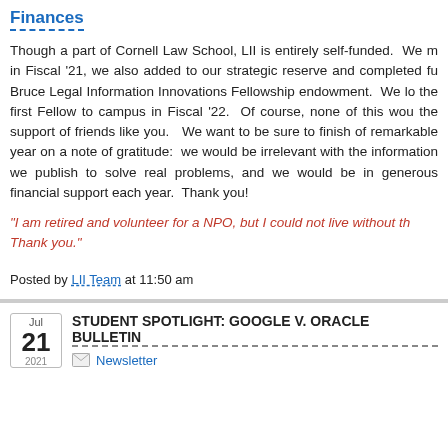Finances
Though a part of Cornell Law School, LII is entirely self-funded. We m in Fiscal '21, we also added to our strategic reserve and completed fu Bruce Legal Information Innovations Fellowship endowment. We lo the first Fellow to campus in Fiscal '22. Of course, none of this wou the support of friends like you. We want to be sure to finish of remarkable year on a note of gratitude: we would be irrelevant with the information we publish to solve real problems, and we would be in generous financial support each year. Thank you!
"I am retired and volunteer for a NPO, but I could not live without th Thank you."
Posted by LII Team at 11:50 am
STUDENT SPOTLIGHT: GOOGLE V. ORACLE BULLETIN
Newsletter